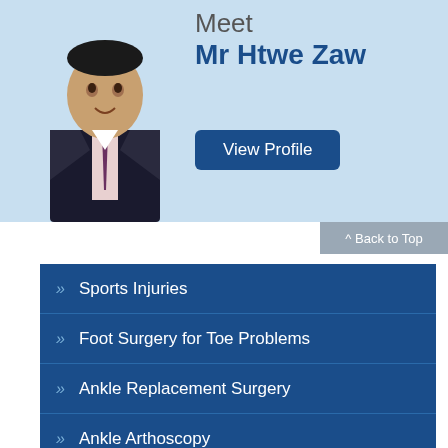[Figure (photo): Photo of Mr Htwe Zaw in suit]
Meet Mr Htwe Zaw
View Profile
^ Back to Top
Sports Injuries
Foot Surgery for Toe Problems
Ankle Replacement Surgery
Ankle Arthoscopy
Bunion Surgery
Foot Deformity Reconstruction
Cartilage Surgery
Foot and Ankle Sprains